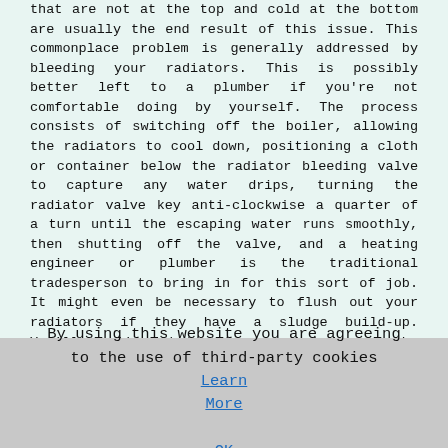that are not at the top and cold at the bottom are usually the end result of this issue. This commonplace problem is generally addressed by bleeding your radiators. This is possibly better left to a plumber if you're not comfortable doing by yourself. The process consists of switching off the boiler, allowing the radiators to cool down, positioning a cloth or container below the radiator bleeding valve to capture any water drips, turning the radiator valve key anti-clockwise a quarter of a turn until the escaping water runs smoothly, then shutting off the valve, and a heating engineer or plumber is the traditional tradesperson to bring in for this sort of job. It might even be necessary to flush out your radiators if they have a sludge build-up. You'll realize that this is an issue if the bottoms of the radiators are still cold when you switch your heating system back on again after carrying out the bleeding.
Saniflo Fitters Selby
There are circumstances when you might want to install a new toilet in your home or business premises. When there is a soil pipe close by this will be a fairly simple undertaking, but if there is not this might be more
By using this website you are agreeing to the use of third-party cookies Learn More OK